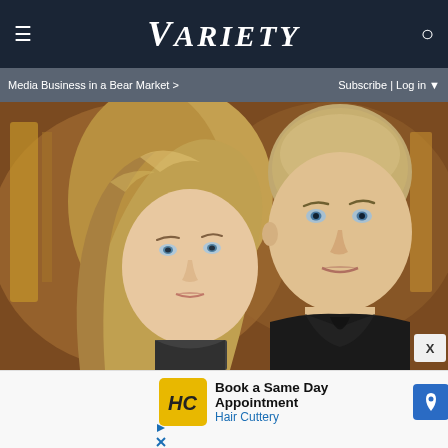VARIETY
Media Business in a Bear Market >  Subscribe | Log in
[Figure (photo): A young blonde woman and a young man with short hair wearing a black shirt, posed together against a warm golden-brown background.]
Book a Same Day Appointment
Hair Cuttery